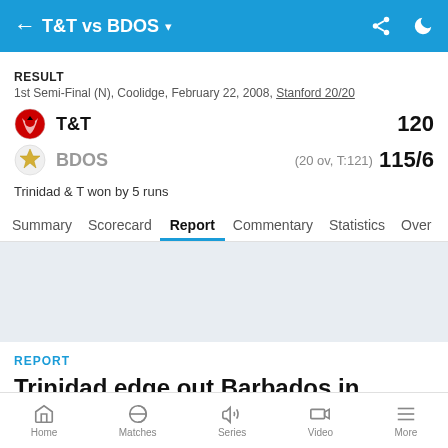T&T vs BDOS
RESULT
1st Semi-Final (N), Coolidge, February 22, 2008, Stanford 20/20
T&T 120
BDOS (20 ov, T:121) 115/6
Trinidad & T won by 5 runs
Summary Scorecard Report Commentary Statistics Over
[Figure (other): Gray advertisement/banner placeholder area]
REPORT
Trinidad edge out Barbados in thriller
Trinidad & Tobago's Dave Mohammed, the left-arm
Home Matches Series Video More